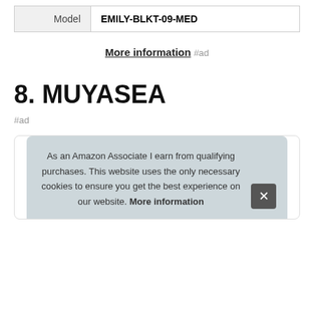|  |  |
| --- | --- |
| Model | EMILY-BLKT-09-MED |
More information #ad
8. MUYASEA
#ad
As an Amazon Associate I earn from qualifying purchases. This website uses the only necessary cookies to ensure you get the best experience on our website. More information